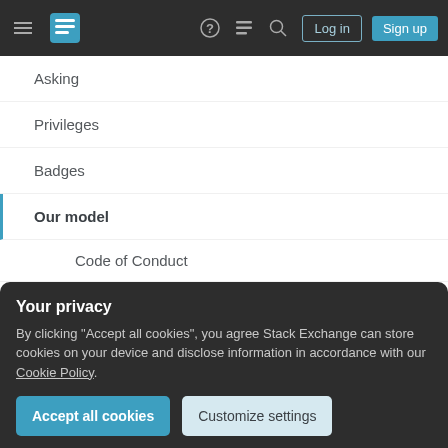Stack Exchange navigation bar with hamburger menu, logo, help icon, chat icon, search icon, Log in button, Sign up button
Asking
Privileges
Badges
Our model
Code of Conduct
Expected Behavior
How do I use tags to find topics I'm interested in?
What if I see someone doing something bad?
How do I report harassment?
Your privacy
By clicking "Accept all cookies", you agree Stack Exchange can store cookies on your device and disclose information in accordance with our Cookie Policy.